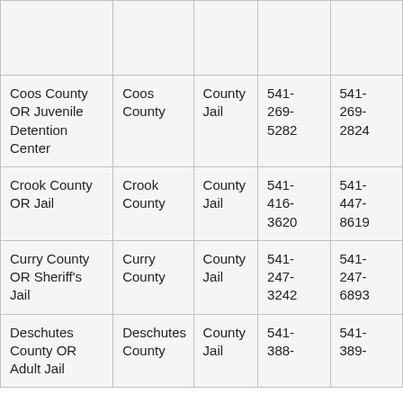|  |  |  |  |  |
| Coos County OR Juvenile Detention Center | Coos County | County Jail | 541-269-5282 | 541-269-2824 |
| Crook County OR Jail | Crook County | County Jail | 541-416-3620 | 541-447-8619 |
| Curry County OR Sheriff's Jail | Curry County | County Jail | 541-247-3242 | 541-247-6893 |
| Deschutes County OR Adult Jail | Deschutes County | County Jail | 541-388-3001 | 541-389-0037 |